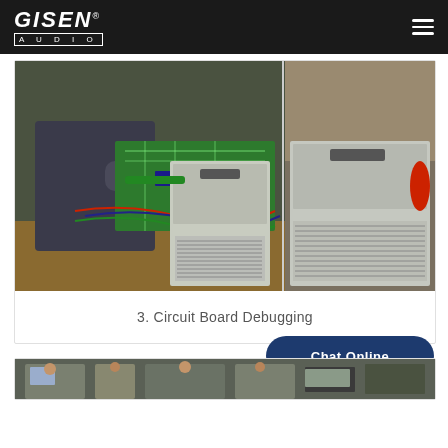GISEN AUDIO
[Figure (photo): A technician debugging circuit boards with electronic test equipment and amplifier units in a manufacturing/workshop environment. The image shows two amplifier units side by side with ventilation slots, green circuit boards, and wiring.]
3. Circuit Board Debugging
[Figure (photo): Partial view of another production/assembly area showing workers and electronic equipment on a workbench.]